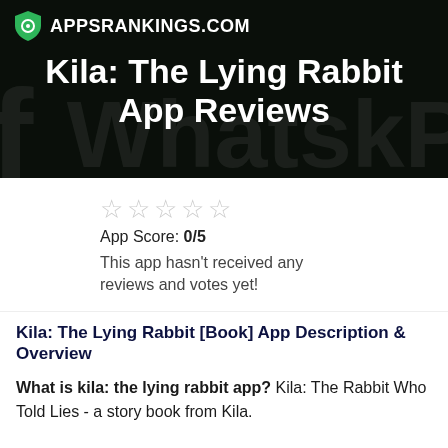APPSRANKINGS.COM
Kila: The Lying Rabbit App Reviews
App Score: 0/5
This app hasn't received any reviews and votes yet!
Kila: The Lying Rabbit [Book] App Description & Overview
What is kila: the lying rabbit app? Kila: The Rabbit Who Told Lies - a story book from Kila.